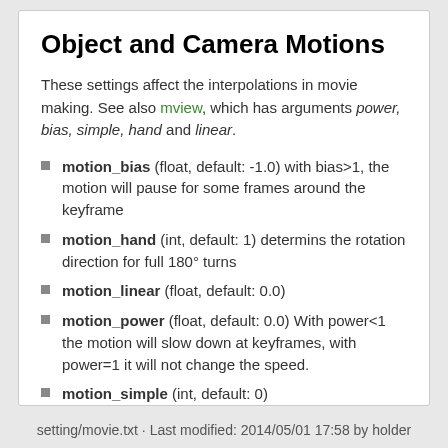Object and Camera Motions
These settings affect the interpolations in movie making. See also mview, which has arguments power, bias, simple, hand and linear.
motion_bias (float, default: -1.0) with bias>1, the motion will pause for some frames around the keyframe
motion_hand (int, default: 1) determins the rotation direction for full 180° turns
motion_linear (float, default: 0.0)
motion_power (float, default: 0.0) With power<1 the motion will slow down at keyframes, with power=1 it will not change the speed.
motion_simple (int, default: 0)
setting/movie.txt · Last modified: 2014/05/01 17:58 by holder